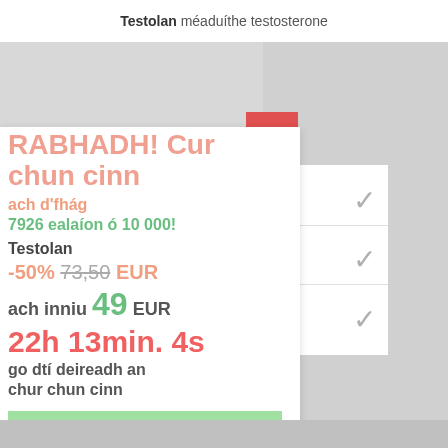Testolan méaduíthe testosterone
RABHADH! Cur chun cinn
ach d'fhág
7926 ealaíon ó 10 000!
Testolan
-50% 73,50 EUR
ach inniu 49 EUR
22h 13min. 4s
go dtí deireadh an chur chun cinn
BAILE ANOIS